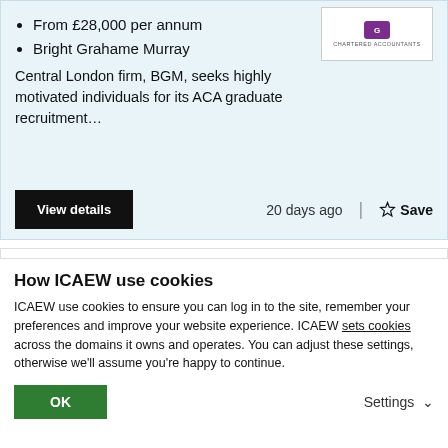From £28,000 per annum
Bright Grahame Murray
Central London firm, BGM, seeks highly motivated individuals for its ACA graduate recruitment…
20 days ago
Top 20 Charity & NFP Audit Semi Senior
How ICAEW use cookies
ICAEW use cookies to ensure you can log in to the site, remember your preferences and improve your website experience. ICAEW sets cookies across the domains it owns and operates. You can adjust these settings, otherwise we'll assume you're happy to continue.